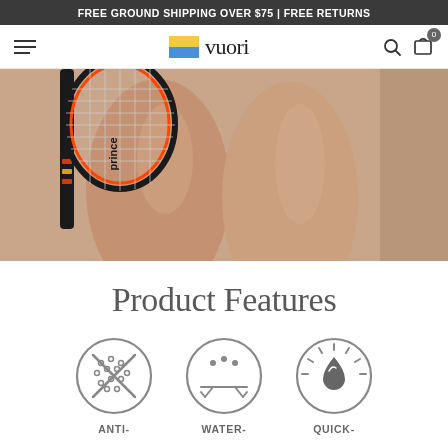FREE GROUND SHIPPING OVER $75 | FREE RETURNS
[Figure (logo): Vuori brand logo with yellow and blue square icon and serif wordmark 'vuori']
[Figure (photo): Close-up of person's legs holding a Prince tennis racket, wearing light pink/nude athletic leggings]
Product Features
[Figure (infographic): Three circular icons: Anti- (anti-odor/anti-pilling with X through fabric texture), Water- (water-resistant with droplets and arrows), Quick- (quick-dry with water drop and dark arc)]